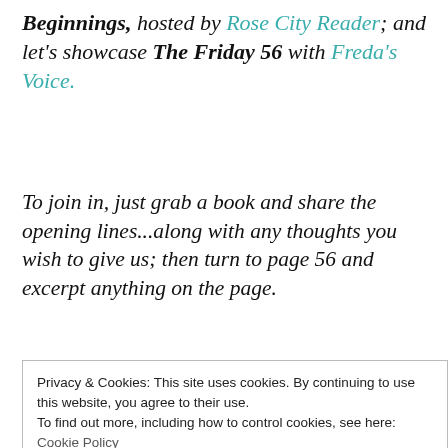Beginnings, hosted by Rose City Reader; and let's showcase The Friday 56 with Freda's Voice.
To join in, just grab a book and share the opening lines...along with any thoughts you wish to give us; then turn to page 56 and excerpt anything on the page.
Privacy & Cookies: This site uses cookies. By continuing to use this website, you agree to their use.
To find out more, including how to control cookies, see here:
Cookie Policy
Close and accept
What better way to spend a Friday!